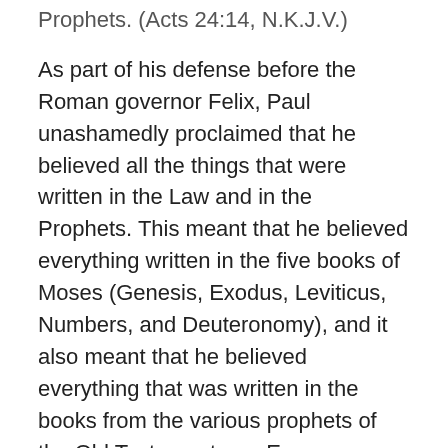Prophets. (Acts 24:14, N.K.J.V.)
As part of his defense before the Roman governor Felix, Paul unashamedly proclaimed that he believed all the things that were written in the Law and in the Prophets. This meant that he believed everything written in the five books of Moses (Genesis, Exodus, Leviticus, Numbers, and Deuteronomy), and it also meant that he believed everything that was written in the books from the various prophets of the Old Testament era. Even more than that, since the term “The Law and the Prophets” can be used to refer to the entirety of the Old Testament (Matthew 7:12), Paul believed everything written in the “wisdom” books (Job, Psalms, Proverbs, Ecclesiastes, Song of Solomon) too.
And just what is it that believing all of the Old Testament entails? Oh, not much. You just have to believe a whole